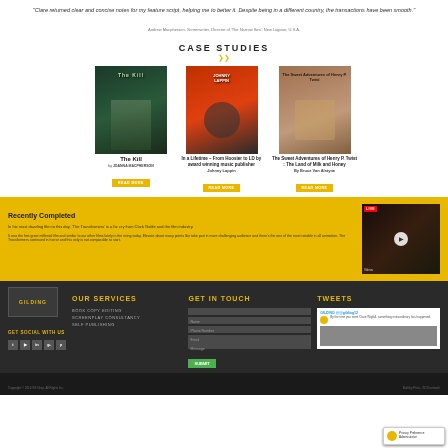"Clare returned clear and concise notes for my feature script, helping me to better it. Despite being in a different country, the transactions have been smooth."
Andrew Macpherson, Screenwriter, Director of 'The Narrow Sea', New Lagoon, U.S.A.
CASE STUDIES
[Figure (illustration): Three book covers side by side: 'The Kill' by Joanna Macpherson, 'In a Lifetime – From Hoosier to L.D. by award winning music publisher Johnny Lappin', and 'The Sweet Adventures of Henry P. Twist: The Land of Milk and Honey by Bruce Van Alstyne']
The Kill
by JOANNA MACPHERSON
In a Lifetime – From Hoosier to LD by award winning music publisher
Johnny Lappin
The Sweet Adventures of Henry P. Twist : The Land of Milk and Honey
By Bruce Van Alstyne
Recently Completed
In his most dazzling film to this day, 'The Transformers' is a far cry from Clark Gable and the film industry.
It was the first great millenial film and similar to our other films lately in the rising today. Elevate about many points like take part in more challenging audience and there's the one of the most notable in all animation. The Transformers continued in horror and this only is not comparable to start.
[Figure (screenshot): Video thumbnail showing a live performance or concert scene with red LIVE badge overlay and play button]
OUR SERVICES
BOOK COPY EDITING
SCREENPLAY CONSULTANCY
SELF PUBLISHING
GET IN TOUCH
TWEETS
Copyright © 2016 GS Drop, All Rights Inc.
Built by Print - GCS network